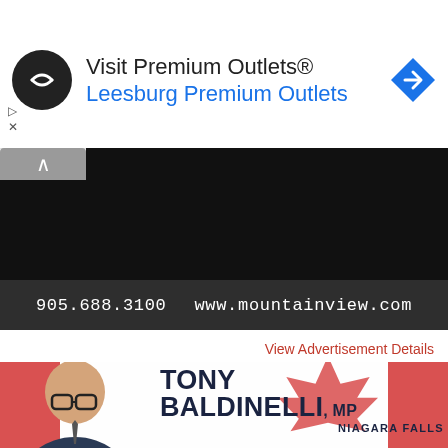[Figure (infographic): Google Maps advertisement banner for Visit Premium Outlets - Leesburg Premium Outlets with circular black logo and blue navigation diamond icon]
[Figure (photo): Black collapsed/dark section of a webpage or app]
905.688.3100   www.mountainview.com
View Advertisement Details
[Figure (infographic): Political advertisement for Tony Baldinelli, MP, Niagara Falls, showing man in suit with Canadian flag background]